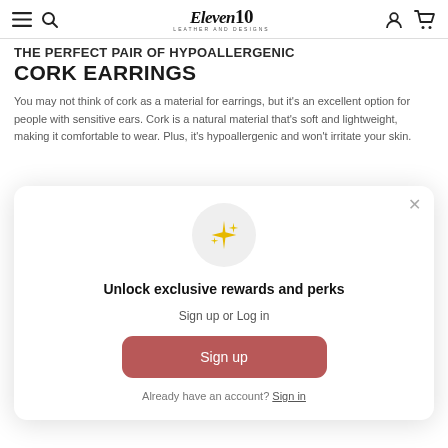Eleven10 Leather and Designs — navigation bar with menu, search, account, and cart icons
THE PERFECT PAIR OF HYPOALLERGENIC CORK EARRINGS
You may not think of cork as a material for earrings, but it's an excellent option for people with sensitive ears. Cork is a natural material that's soft and lightweight, making it comfortable to wear. Plus, it's hypoallergenic and won't irritate your skin.
[Figure (infographic): Modal popup with sparkle icon, 'Unlock exclusive rewards and perks' heading, 'Sign up or Log in' subtext, a Sign up button, and 'Already have an account? Sign in' link]